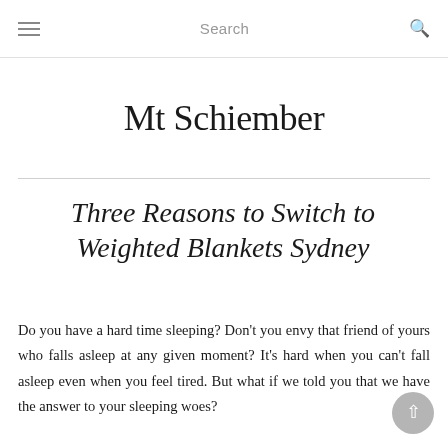≡  Search  🔍
Mt Schiember
Three Reasons to Switch to Weighted Blankets Sydney
Do you have a hard time sleeping? Don't you envy that friend of yours who falls asleep at any given moment? It's hard when you can't fall asleep even when you feel tired. But what if we told you that we have the answer to your sleeping woes?